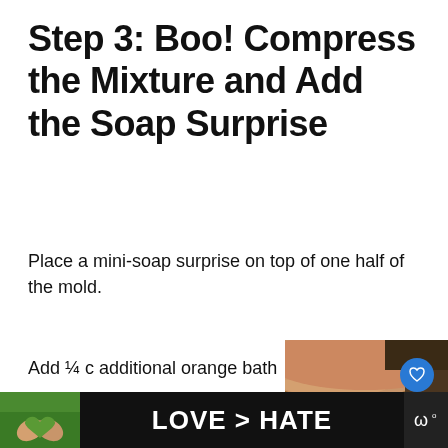Step 3: Boo! Compress the Mixture and Add the Soap Surprise
Place a mini-soap surprise on top of one half of the mold.
Add ¼ c additional orange bath
[Figure (photo): Close-up photo of hands holding an orange/yellow textured circular object, possibly a bath bomb or soap mold, with colorful speckles on it. Social sharing icons (heart and share) are visible on the right side.]
[Figure (photo): Advertisement banner at bottom showing hands making a heart shape against a green outdoor background, with text 'LOVE > HATE' in white on black background, with a close button and logo.]